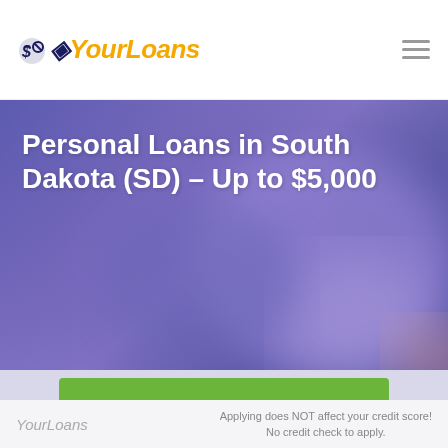YourLoans
Personal Loans in South Dakota (SD) – Up to $5,000
[Figure (screenshot): Hero banner with blurred purple/blue background image showing a person, overlaid with white bold title text about personal loans in South Dakota.]
Apply Now
YourLoans
Applying does NOT affect your credit score! No credit check to apply.